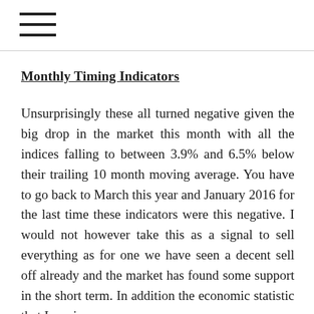≡
Monthly Timing Indicators
Unsurprisingly these all turned negative given the big drop in the market this month with all the indices falling to between 3.9% and 6.5% below their trailing 10 month moving average. You have to go back to March this year and January 2016 for the last time these indicators were this negative. I would not however take this as a signal to sell everything as for one we have seen a decent sell off already and the market has found some support in the short term. In addition the economic statistic that I use in